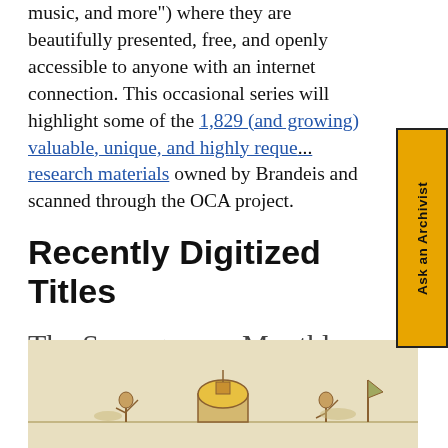music, and more") where they are beautifully presented, free, and openly accessible to anyone with an internet connection. This occasional series will highlight some of the 1,829 (and growing) valuable, unique, and highly requested research materials owned by Brandeis and scanned through the OCA project.
[Figure (other): Sidebar tab reading 'Ask an Archivist' in vertical orientation with gold/yellow background]
Recently Digitized Titles
The Scourge : or, Monthly Expositor of Imposture and Folly
[Figure (illustration): A historical manuscript illustration showing figures in a landscape with a domed building, on a parchment-colored background]